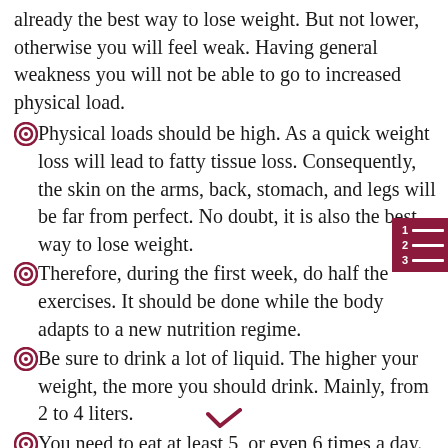already the best way to lose weight. But not lower, otherwise you will feel weak. Having general weakness you will not be able to go to increased physical load.
Physical loads should be high. As a quick weight loss will lead to fatty tissue loss. Consequently, the skin on the arms, back, stomach, and legs will be far from perfect. No doubt, it is also the best way to lose weight.
Therefore, during the first week, do half the exercises. It should be done while the body adapts to a new nutrition regime.
Be sure to drink a lot of liquid. The higher your weight, the more you should drink. Mainly, from 2 to 4 liters.
You need to eat at least 5, or even 6 times a day.
The...